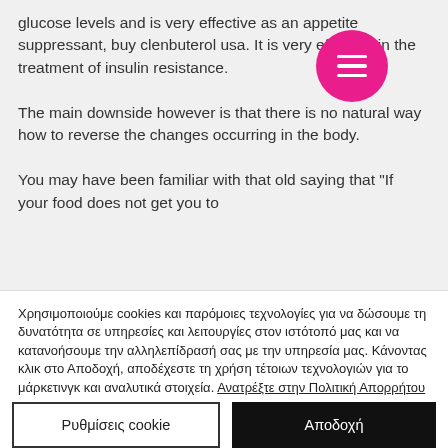glucose levels and is very effective as an appetite suppressant, buy clenbuterol usa. It is very effective in the treatment of insulin resistance.

The main downside however is that there is no natural way how to reverse the changes occurring in the body.

You may have been familiar with that old saying that "If your food does not get you to
Χρησιμοποιούμε cookies και παρόμοιες τεχνολογίες για να δώσουμε τη δυνατότητα σε υπηρεσίες και λειτουργίες στον ιστότοπό μας και να κατανοήσουμε την αλληλεπίδρασή σας με την υπηρεσία μας. Κάνοντας κλικ στο Αποδοχή, αποδέχεστε τη χρήση τέτοιων τεχνολογιών για το μάρκετινγκ και αναλυτικά στοιχεία. Ανατρέξτε στην Πολιτική Απορρήτου
Ρυθμίσεις cookie
Αποδοχή